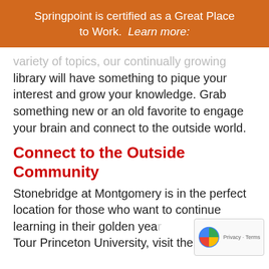Springpoint is certified as a Great Place to Work.  Learn more:
variety of topics, our continually growing library will have something to pique your interest and grow your knowledge. Grab something new or an old favorite to engage your brain and connect to the outside world.
Connect to the Outside Community
Stonebridge at Montgomery is in the perfect location for those who want to continue learning in their golden years. Tour Princeton University, visit the